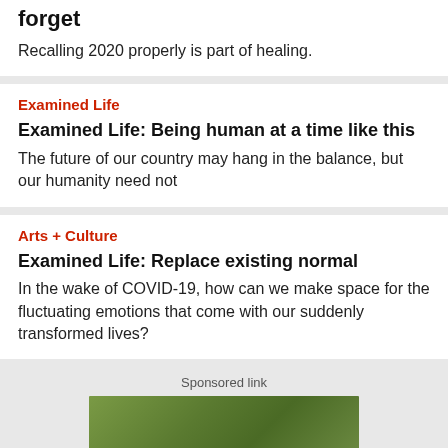forget
Recalling 2020 properly is part of healing.
Examined Life
Examined Life: Being human at a time like this
The future of our country may hang in the balance, but our humanity need not
Arts + Culture
Examined Life: Replace existing normal
In the wake of COVID-19, how can we make space for the fluctuating emotions that come with our suddenly transformed lives?
Sponsored link
[Figure (photo): Green water or grass outdoor photo strip at bottom of page]